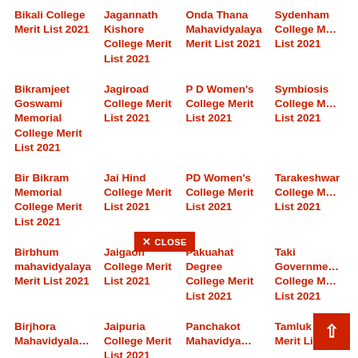Bikali College Merit List 2021
Jagannath Kishore College Merit List 2021
Onda Thana Mahavidyalaya Merit List 2021
Sydenham College Merit List 2021
Bikramjeet Goswami Memorial College Merit List 2021
Jagiroad College Merit List 2021
P D Women's College Merit List 2021
Symbiosis College Merit List 2021
Bir Bikram Memorial College Merit List 2021
Jai Hind College Merit List 2021
PD Women's College Merit List 2021
Tarakeshwar College Merit List 2021
Birbhum mahavidyalaya Merit List 2021
Jaigaon College Merit List 2021
Pakuahat Degree College Merit List 2021
Taki Government College Merit List 2021
Birjhora Mahavidyalaya Merit List 2021
Jaipuria College Merit List 2021
Panchakot Mahavidyalaya Merit List 2021
Tamluk College Merit List 2021